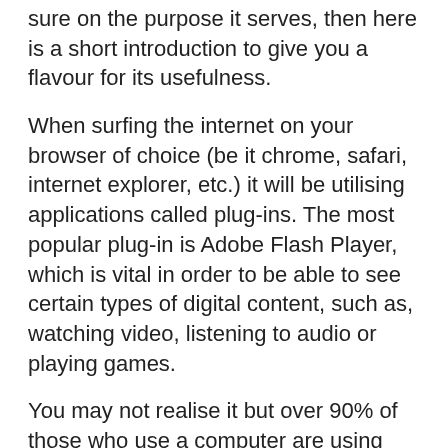sure on the purpose it serves, then here is a short introduction to give you a flavour for its usefulness.
When surfing the internet on your browser of choice (be it chrome, safari, internet explorer, etc.) it will be utilising applications called plug-ins. The most popular plug-in is Adobe Flash Player, which is vital in order to be able to see certain types of digital content, such as, watching video, listening to audio or playing games.
You may not realise it but over 90% of those who use a computer are using Adobe Flash Player, so you may in fact be using it without even realising. It is an application that has made the lives of computer-users much the better, with its seamless ability to play online files with relative ease proving it a real necessity as an internet tool.
The Perks of using Flash Player